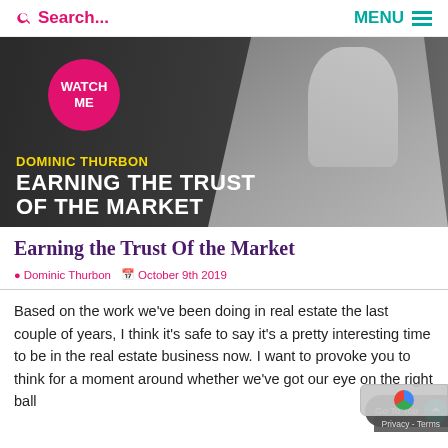Search...   MENU
[Figure (photo): Hero banner showing Dominic Thurbon in a striped blazer against a dark background, with a pink circle badge reading WATCH ME, yellow text DOMINIC THURBON, and white bold text EARNING THE TRUST OF THE MARKET]
Earning the Trust Of the Market
Dominic Thurbon   October 9th 2019
Based on the work we've been doing in real estate the last couple of years, I think it's safe to say it's a pretty interesting time to be in the real estate business now. I want to provoke you to think for a moment around whether we've got our eye on the right ball